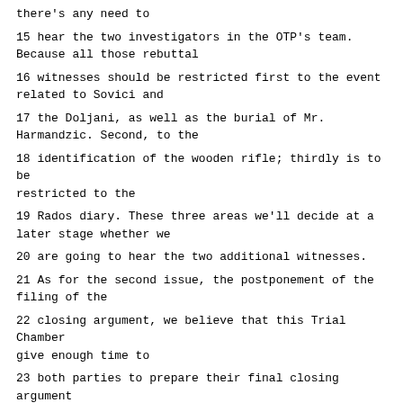there's any need to
15 hear the two investigators in the OTP's team. Because all those rebuttal
16 witnesses should be restricted first to the event related to Sovici and
17 the Doljani, as well as the burial of Mr. Harmandzic. Second, to the
18 identification of the wooden rifle; thirdly is to be restricted to the
19 Rados diary. These three areas we'll decide at a later stage whether we
20 are going to hear the two additional witnesses.
21 As for the second issue, the postponement of the filing of the
22 closing argument, we believe that this Trial Chamber give enough time to
23 both parties to prepare their final closing argument compared with other
24 Trial Chambers. So we would like to abide by the order we rendered